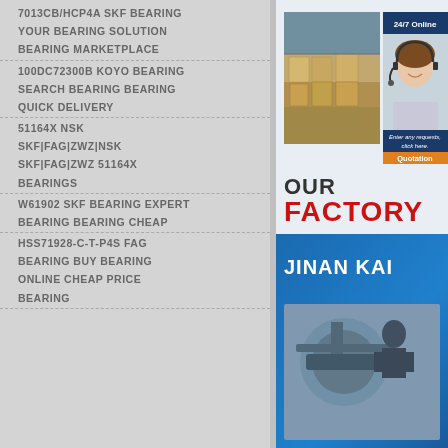7013CB/HCP4A SKF BEARING
YOUR BEARING SOLUTION
BEARING MARKETPLACE
100DC72300B KOYO BEARING
SEARCH BEARING BEARING
QUICK DELIVERY
51164X NSK
SKF|FAG|ZWZ|NSK
SKF|FAG|ZWZ 51164X BEARINGS
W61902 SKF BEARING EXPERT
BEARING BEARING CHEAP
HSS71928-C-T-P4S FAG
BEARING BUY BEARING
ONLINE CHEAP PRICE BEARING
[Figure (screenshot): Warehouse interior with stacked boxes and a customer service agent with headset. 24/7 Online badge and Quotation button visible.]
OUR
FACTORY
[Figure (screenshot): Blue banner with JINAN KAI text and machinery/equipment photo below]